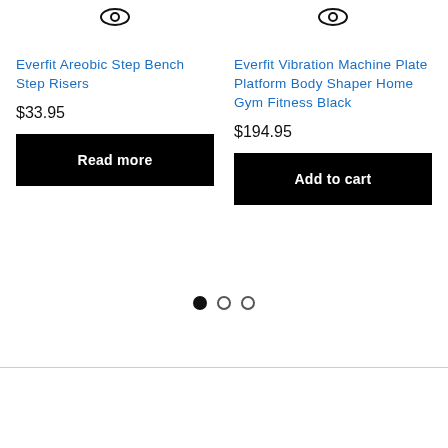[Figure (other): Eye/quickview icon for product 1]
Everfit Areobic Step Bench Step Risers
$33.95
Read more
[Figure (other): Eye/quickview icon for product 2]
Everfit Vibration Machine Plate Platform Body Shaper Home Gym Fitness Black
$194.95
Add to cart
[Figure (other): Carousel pagination dots: 1 filled, 2 empty]